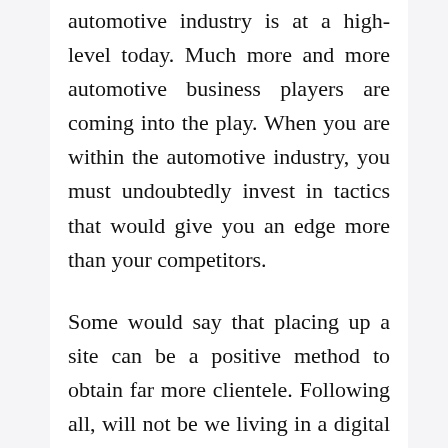automotive industry is at a high-level today. Much more and more automotive business players are coming into the play. When you are within the automotive industry, you must undoubtedly invest in tactics that would give you an edge more than your competitors.
Some would say that placing up a site can be a positive method to obtain far more clientele. Following all, will not be we living in a digital age where almost all people do